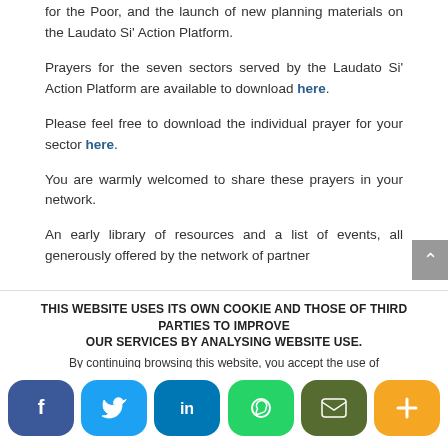for the Poor, and the launch of new planning materials on the Laudato Si' Action Platform.
Prayers for the seven sectors served by the Laudato Si' Action Platform are available to download here.
Please feel free to download the individual prayer for your sector here.
You are warmly welcomed to share these prayers in your network.
An early library of resources and a list of events, all generously offered by the network of partner
THIS WEBSITE USES ITS OWN COOKIE AND THOSE OF THIRD PARTIES TO IMPROVE OUR SERVICES BY ANALYSING WEBSITE USE. By continuing browsing this website, you accept the use of
[Figure (other): Social sharing bar with Facebook, Twitter, LinkedIn, WhatsApp, Email, and More buttons]